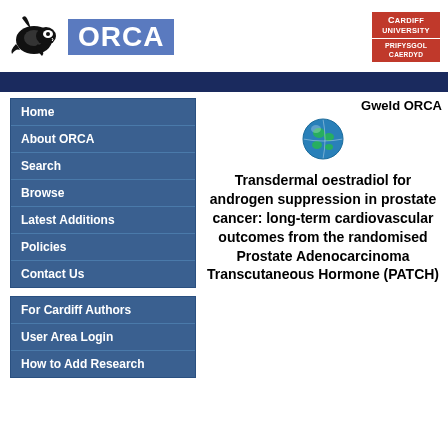[Figure (logo): ORCA logo with orca whale icon and blue ORCA text, plus Cardiff University / Prifysgol Caerdydd logo on the right]
ORCA
Home
About ORCA
Search
Browse
Latest Additions
Policies
Contact Us
For Cardiff Authors
User Area Login
How to Add Research
Gweld ORCA
[Figure (illustration): Globe/earth icon]
Transdermal oestradiol for androgen suppression in prostate cancer: long-term cardiovascular outcomes from the randomised Prostate Adenocarcinoma Transcutaneous Hormone (PATCH)